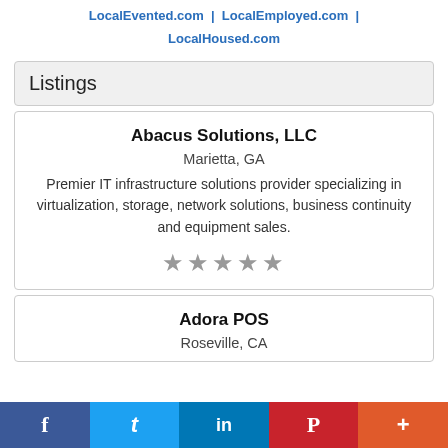LocalEvented.com | LocalEmployed.com | LocalHoused.com
Listings
Abacus Solutions, LLC
Marietta, GA
Premier IT infrastructure solutions provider specializing in virtualization, storage, network solutions, business continuity and equipment sales.
[Figure (other): 5 grey stars rating]
Adora POS
Roseville, CA
f  t  in  P  +